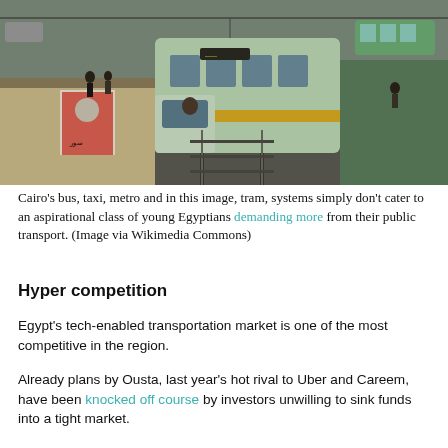[Figure (photo): Aerial/elevated view of a green and yellow tram at a station platform in Cairo, with bus visible in background, pedestrians on platforms, and urban street scene.]
Cairo's bus, taxi, metro and in this image, tram, systems simply don't cater to an aspirational class of young Egyptians demanding more from their public transport. (Image via Wikimedia Commons)
Hyper competition
Egypt's tech-enabled transportation market is one of the most competitive in the region.
Already plans by Ousta, last year's hot rival to Uber and Careem, have been knocked off course by investors unwilling to sink funds into a tight market.